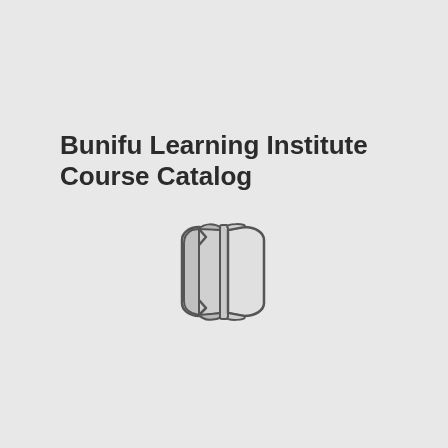Bunifu Learning Institute Course Catalog
[Figure (illustration): An open book icon rendered in outline style with gray fill, showing pages spread open]